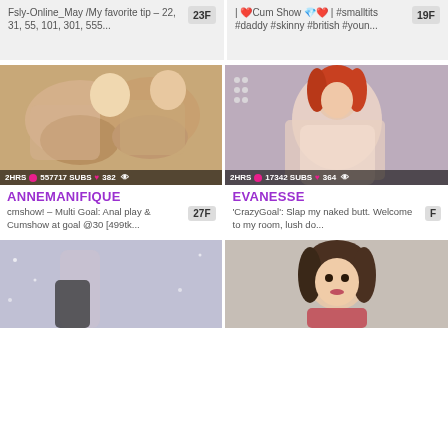Fsly-Online_May /My favorite tip - 22, 31, 55, 101, 301, 555...
23F
| ❤️Cum Show 💎❤️ | #smalltits #daddy #skinny #british #youn...
19F
[Figure (photo): Webcam stream thumbnail showing two people, stats bar: 2HRS, 557717 SUBS, 382]
[Figure (photo): Webcam stream thumbnail showing a person with red hair, stats bar: 2HRS, 17342 SUBS, 364]
ANNEMANIFIQUE
cmshow! - Multi Goal: Anal play & Cumshow at goal @30 [499tk...
27F
EVANESSE
'CrazyGoal': Slap my naked butt. Welcome to my room, lush do...
F
[Figure (photo): Partial webcam thumbnail showing person in black outfit]
[Figure (photo): Partial webcam thumbnail showing person in red outfit]